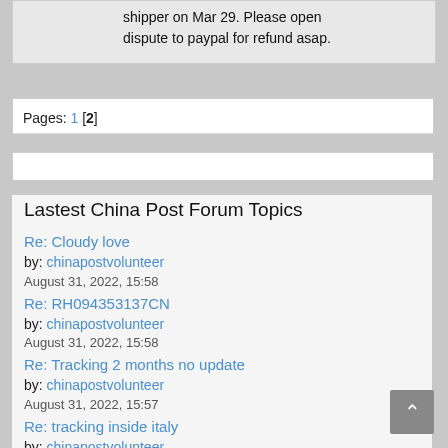shipper on Mar 29. Please open dispute to paypal for refund asap.
Pages: 1 [2]
Lastest China Post Forum Topics
Re: Cloudy love
by: chinapostvolunteer
August 31, 2022, 15:58
Re: RH094353137CN
by: chinapostvolunteer
August 31, 2022, 15:58
Re: Tracking 2 months no update
by: chinapostvolunteer
August 31, 2022, 15:57
Re: tracking inside italy
by: chinapostvolunteer
August 31, 2022, 15:54
Re: RR469650531PL